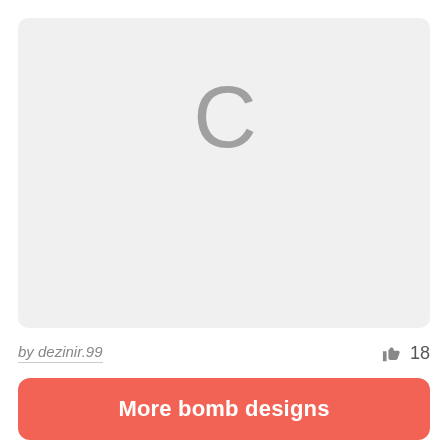[Figure (screenshot): A light gray rounded rectangle card showing a loading spinner placeholder — the letter C in gray on a light gray background, representing an image that has not loaded.]
by dezinir.99
18
More bomb designs